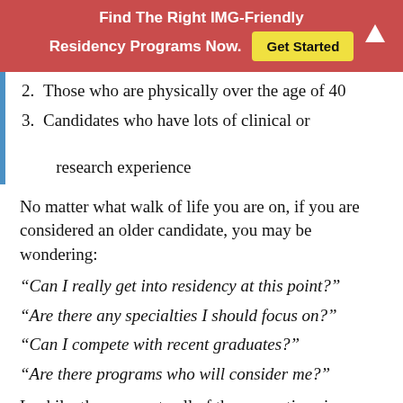Find The Right IMG-Friendly Residency Programs Now. Get Started
2. Those who are physically over the age of 40
3. Candidates who have lots of clinical or research experience
No matter what walk of life you are on, if you are considered an older candidate, you may be wondering:
“Can I really get into residency at this point?”
“Are there any specialties I should focus on?”
“Can I compete with recent graduates?”
“Are there programs who will consider me?”
Luckily, the answer to all of these questions is